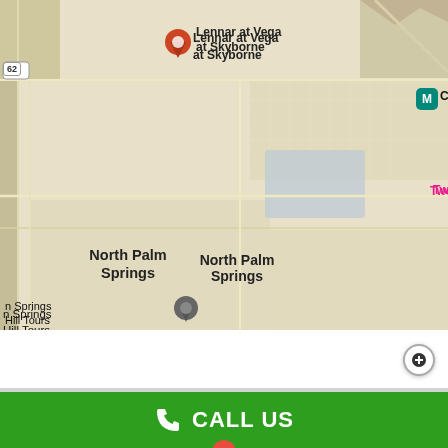[Figure (map): Google Maps view showing Desert Hot Springs, North Palm Springs, Two Bunch Palms, Desert Dunes Golf Club, Cabot's Pueblo, and Lennar at Vega at Skyborne locations in the Coachella Valley area of California.]
NEED HELP? WE'RE AVAILABLE 24/7.
CALL US